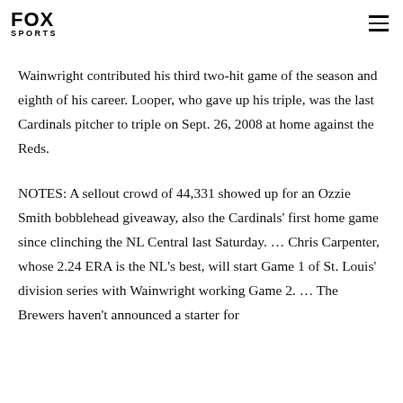FOX SPORTS
Wainwright contributed his third two-hit game of the season and eighth of his career. Looper, who gave up his triple, was the last Cardinals pitcher to triple on Sept. 26, 2008 at home against the Reds.
NOTES: A sellout crowd of 44,331 showed up for an Ozzie Smith bobblehead giveaway, also the Cardinals' first home game since clinching the NL Central last Saturday. … Chris Carpenter, whose 2.24 ERA is the NL's best, will start Game 1 of St. Louis' division series with Wainwright working Game 2. … The Brewers haven't announced a starter for